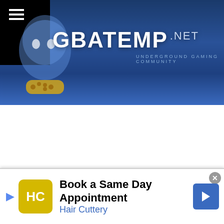[Figure (screenshot): GBAtemp.net website header with logo and navigation bar showing Home, Forums, Downloads, Wiki (active), Reviews tabs]
GBATEMP .NET
UNDERGROUND GAMING COMMUNITY
Home · Forums · Downloads · Wiki · Reviews
Log in
Search WikiiTemp
Difference between revisions of "Triiforce v0.x VC/WiiWare NAND emulation compatibility"
Page · Discussion · View source · History
| Revision (left) | Revision (right) |
| --- | --- |
| Revision as of 16:37, 27 September 2009 (view source) | Revision as of 17:07, 27 September 2009 (view source) |
| 72.66.236.179 (talk) | Logan (talk | contribs) |
| (→N64) | m (→D) |
[Figure (other): Advertisement banner: Book a Same Day Appointment - Hair Cuttery]